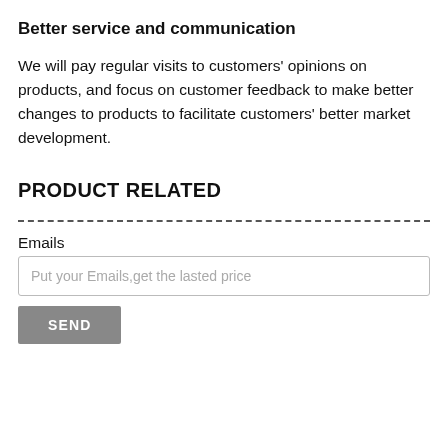Better service and communication
We will pay regular visits to customers' opinions on products, and focus on customer feedback to make better changes to products to facilitate customers' better market development.
PRODUCT RELATED
Emails
Put your Emails,get the lasted price
SEND